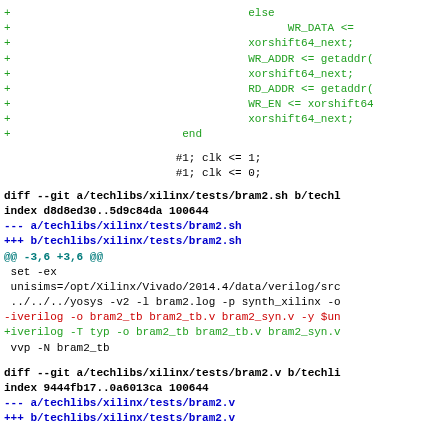+ else
+                 WR_DATA <=
+                 xorshift64_next;
+                 WR_ADDR <= getaddr(
+                 xorshift64_next;
+                 RD_ADDR <= getaddr(
+                 WR_EN <= xorshift64
+                 xorshift64_next;
+               end
#1; clk <= 1;
#1; clk <= 0;
diff --git a/techlibs/xilinx/tests/bram2.sh b/techl
index d8d8ed30..5d9c84da 100644
--- a/techlibs/xilinx/tests/bram2.sh
+++ b/techlibs/xilinx/tests/bram2.sh
@@ -3,6 +3,6 @@
 set -ex
 unisims=/opt/Xilinx/Vivado/2014.4/data/verilog/src
 ../../../yosys -v2 -l bram2.log -p synth_xilinx -o
-iverilog -o bram2_tb bram2_tb.v bram2_syn.v -y $un
+iverilog -T typ -o bram2_tb bram2_tb.v bram2_syn.v
 vvp -N bram2_tb
diff --git a/techlibs/xilinx/tests/bram2.v b/techli
index 9444fb17..0a6013ca 100644
--- a/techlibs/xilinx/tests/bram2.v
+++ b/techlibs/xilinx/tests/bram2.v